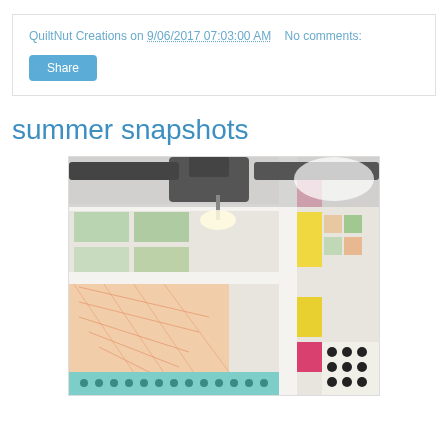QuiltNut Creations on 9/06/2017 07:03:00 AM   No comments:
summer snapshots
[Figure (photo): A longarm quilting machine stitching a colorful patchwork quilt on a frame, viewed from above at an angle. The quilt features colorful fabric strips and patches in orange, green, yellow, teal, pink, and black-and-white polka dots against a white background, with quilting stitching visible.]